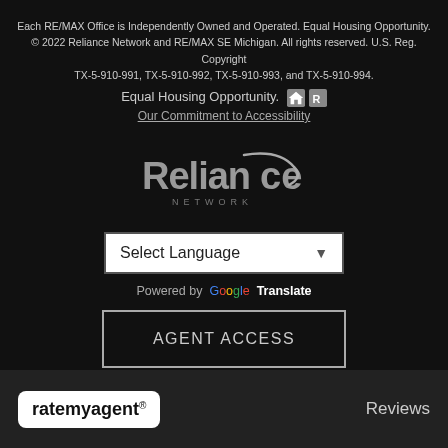Each RE/MAX Office is Independently Owned and Operated. Equal Housing Opportunity. © 2022 Reliance Network and RE/MAX SE Michigan. All rights reserved. U.S. Reg. Copyright TX-5-910-991, TX-5-910-992, TX-5-910-993, and TX-5-910-994.
Equal Housing Opportunity.
Our Commitment to Accessibility
[Figure (logo): Reliance Network logo — stylized silver text on dark background]
Select Language
Powered by Google Translate
AGENT ACCESS
[Figure (logo): ratemyagent logo in white box]
Reviews